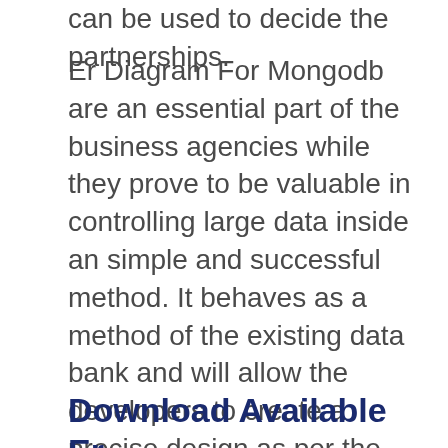can be used to decide the partnerships.
Er Diagram For Mongodb are an essential part of the business agencies while they prove to be valuable in controlling large data inside an simple and successful method. It behaves as a method of the existing data bank and will allow the developers to create a precise design as per the requirements and needs of the company and also the task. The ERD product helps make info stream more effective. These artistic and easy diagrams act as the best instrument for your organization companies letting them maintain their database efficiently.
Download Available Er